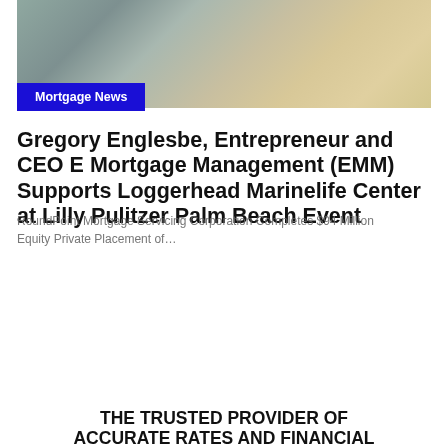[Figure (photo): Interior room photo with yellow armchair on light wood floor against a gray wall]
Mortgage News
Gregory Englesbe, Entrepreneur and CEO E Mortgage Management (EMM) Supports Loggerhead Marinelife Center at Lilly Pulitzer Palm Beach Event
RoundPoint Mortgage Servicing Corporation Completes $94 Million Equity Private Placement of…
THE TRUSTED PROVIDER OF ACCURATE RATES AND FINANCIAL